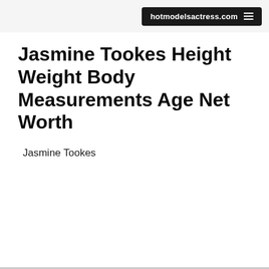hotmodelsactress.com
Jasmine Tookes Height Weight Body Measurements Age Net Worth
Jasmine Tookes